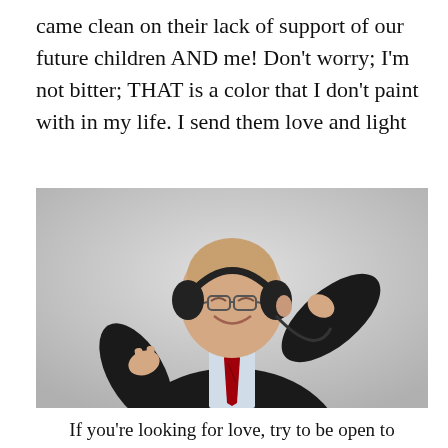came clean on their lack of support of our future children AND me! Don't worry; I'm not bitter; THAT is a color that I don't paint with in my life. I send them love and light
[Figure (photo): An elderly man in a dark suit and red tie wearing large black headphones, eyes closed and smiling, one hand raised near his head and one hand raised with fingers snapping, appearing to dance and enjoy music. Light grey background.]
If you're looking for love, try to be open to